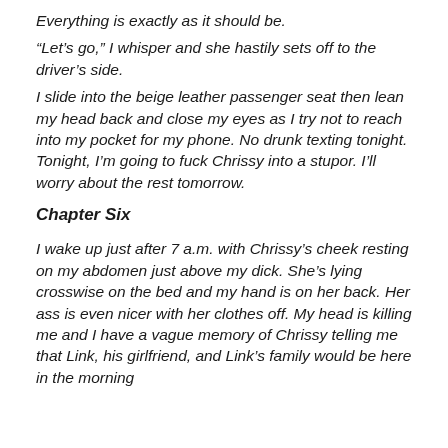Everything is exactly as it should be.
“Let’s go,” I whisper and she hastily sets off to the driver’s side.
I slide into the beige leather passenger seat then lean my head back and close my eyes as I try not to reach into my pocket for my phone. No drunk texting tonight. Tonight, I’m going to fuck Chrissy into a stupor. I’ll worry about the rest tomorrow.
Chapter Six
I wake up just after 7 a.m. with Chrissy’s cheek resting on my abdomen just above my dick. She’s lying crosswise on the bed and my hand is on her back. Her ass is even nicer with her clothes off. My head is killing me and I have a vague memory of Chrissy telling me that Link, his girlfriend, and Link’s family would be here in the morning